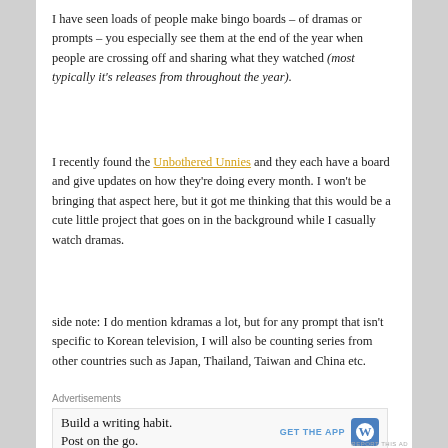I have seen loads of people make bingo boards – of dramas or prompts – you especially see them at the end of the year when people are crossing off and sharing what they watched (most typically it's releases from throughout the year).
I recently found the Unbothered Unnies and they each have a board and give updates on how they're doing every month. I won't be bringing that aspect here, but it got me thinking that this would be a cute little project that goes on in the background while I casually watch dramas.
side note: I do mention kdramas a lot, but for any prompt that isn't specific to Korean television, I will also be counting series from other countries such as Japan, Thailand, Taiwan and China etc.
Advertisements
[Figure (other): WordPress advertisement banner: 'Build a writing habit. Post on the go.' with GET THE APP button and WordPress logo]